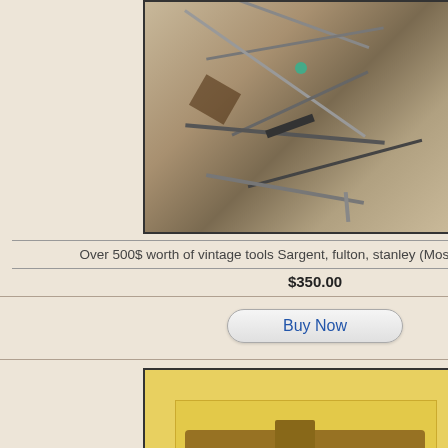[Figure (photo): Collection of vintage tools including chisels, screwdrivers, and other hand tools spread on a wooden floor surface]
Over 500$ worth of vintage tools Sargent, fulton, stanley (Mostly made in USA)
$350.00
Buy Now
[Figure (photo): Sargent & Co wood plane #663, a wooden hand plane tool on a yellow background]
SARGENT & CO WOOD PLANE #663
$300.00
Buy Now
Other Sites of Interest
[Figure (photo): Partial image of a wooden tool or handle on right side column]
[Figure (photo): Partial image of a wood grain surface on right side column]